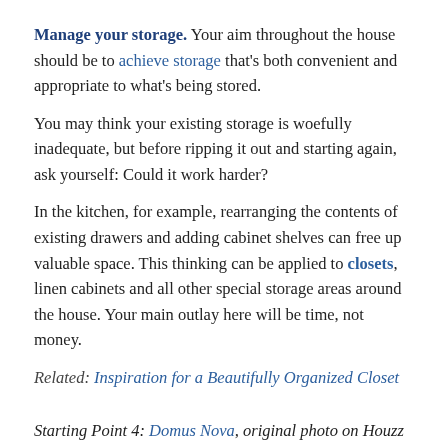Manage your storage. Your aim throughout the house should be to achieve storage that's both convenient and appropriate to what's being stored.
You may think your existing storage is woefully inadequate, but before ripping it out and starting again, ask yourself: Could it work harder?
In the kitchen, for example, rearranging the contents of existing drawers and adding cabinet shelves can free up valuable space. This thinking can be applied to closets, linen cabinets and all other special storage areas around the house. Your main outlay here will be time, not money.
Related: Inspiration for a Beautifully Organized Closet
Starting Point 4: Domus Nova, original photo on Houzz
Turn a “problem room” into a successful one. If